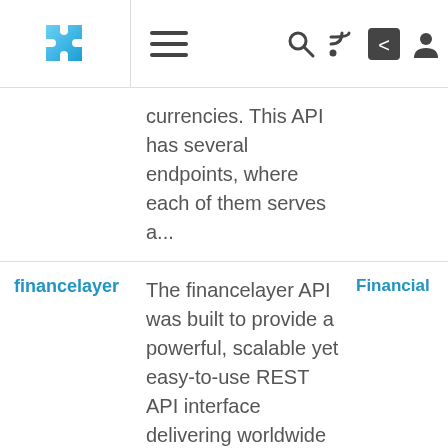[Navigation bar with puzzle logo, hamburger menu, search, RSS, share, and user icons]
| Name | Description | Tag |
| --- | --- | --- |
|  | currencies. This API has several endpoints, where each of them serves a... |  |
| financelayer | The financelayer API was built to provide a powerful, scalable yet easy-to-use REST API interface delivering worldwide live and historical financial news data in handy JSON format. The API comes with... | Financial |
| Fixer | Fixer API Powered | Currency |